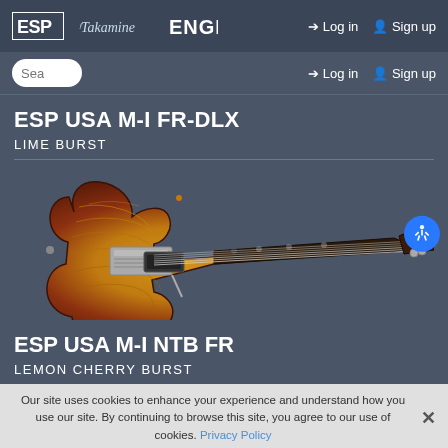ESP | Takamine | ENGL | Log in | Sign up
ESP USA M-I FR-DLX
LIME BURST
[Figure (photo): Electric guitar with flame/quilt maple top in Lime Burst finish, extended neck with dark fretboard and tuners visible]
ESP USA M-I NTB FR
LEMON CHERRY BURST
Our site uses cookies to enhance your experience and understand how you use our site. By continuing to browse this site, you agree to our use of cookies. Privacy Policy